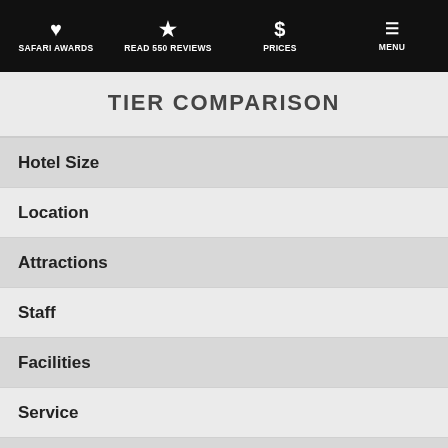SAFARI AWARDS  READ 550 REVIEWS  PRICES  MENU
TIER COMPARISON
Hotel Size
Location
Attractions
Staff
Facilities
Service
Food
Quality
Privacy